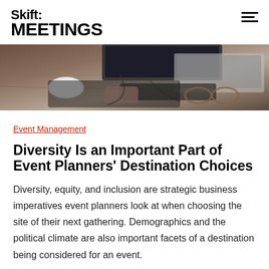Skift MEETINGS
[Figure (photo): Overhead view of a desk with a computer monitor, keyboard, mouse, phone, glasses, and cables on a wooden surface.]
Event Management
Diversity Is an Important Part of Event Planners' Destination Choices
Diversity, equity, and inclusion are strategic business imperatives event planners look at when choosing the site of their next gathering. Demographics and the political climate are also important facets of a destination being considered for an event.
2 weeks ago